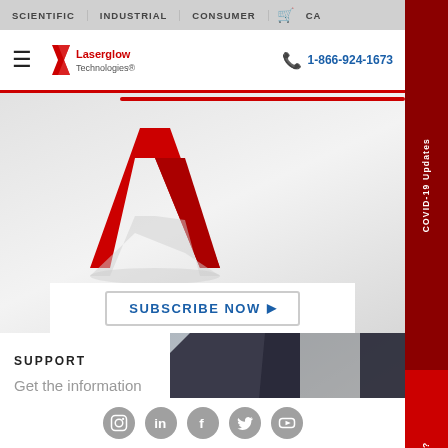SCIENTIFIC | INDUSTRIAL | CONSUMER | CART
[Figure (logo): Laserglow Technologies logo with red chevron graphic and company name]
1-866-924-1673
[Figure (illustration): Red 3D lambda/laser symbol graphic on grey gradient background]
SUBSCRIBE NOW
[Figure (photo): Two people shaking hands in business attire]
SUPPORT
Get the information you need fast.
CONTACT US
[Figure (other): Social media icons: Instagram, LinkedIn, Facebook, Twitter, YouTube]
COVID-19 Updates
Can We Help?